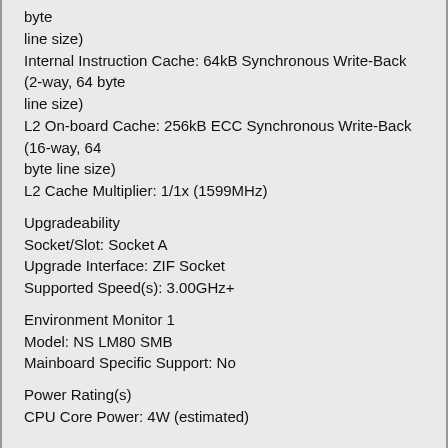byte
line size)
Internal Instruction Cache: 64kB Synchronous Write-Back (2-way, 64 byte
line size)
L2 On-board Cache: 256kB ECC Synchronous Write-Back (16-way, 64
byte line size)
L2 Cache Multiplier: 1/1x (1599MHz)
Upgradeability
Socket/Slot: Socket A
Upgrade Interface: ZIF Socket
Supported Speed(s): 3.00GHz+
Environment Monitor 1
Model: NS LM80 SMB
Mainboard Specific Support: No
Power Rating(s)
CPU Core Power: 4W (estimated)